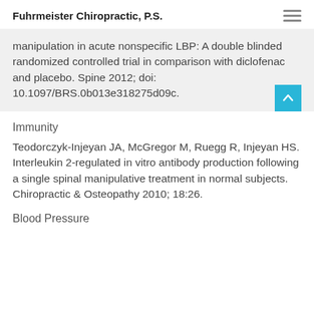Fuhrmeister Chiropractic, P.S.
manipulation in acute nonspecific LBP: A double blinded randomized controlled trial in comparison with diclofenac and placebo. Spine 2012; doi: 10.1097/BRS.0b013e318275d09c.
Immunity
Teodorczyk-Injeyan JA, McGregor M, Ruegg R, Injeyan HS. Interleukin 2-regulated in vitro antibody production following a single spinal manipulative treatment in normal subjects. Chiropractic & Osteopathy 2010; 18:26.
Blood Pressure